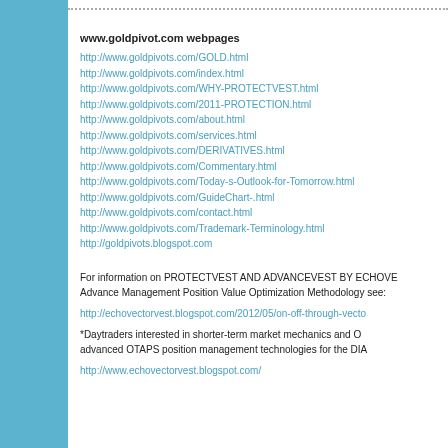www.goldpivot.com webpages
http://www.goldpivots.com/GOLD.html
http://www.goldpivots.com/index.html
http://www.goldpivots.com/WHY-PROTECTVEST.html
http://www.goldpivots.com/2011-PROTECTION.html
http://www.goldpivots.com/about.html
http://www.goldpivots.com/services.html
http://www.goldpivots.com/DERIVATIVES.html
http://www.goldpivots.com/Commentary.html
http://www.goldpivots.com/Today-s-Outlook-for-Tomorrow.html
http://www.goldpivots.com/GuideChart-.html
http://www.goldpivots.com/contact.html
http://www.goldpivots.com/Trademark-Terminology.html
http://goldpivots.blogspot.com
For information on PROTECTVEST AND ADVANCEVEST BY ECHOVE Advance Management Position Value Optimization Methodology see:
http://echovectorvest.blogspot.com/2012/05/on-off-through-vecto
*Daytraders interested in shorter-term market mechanics and O advanced OTAPS position management technologies for the DIA
http://www.echovectorvest.blogspot.com/